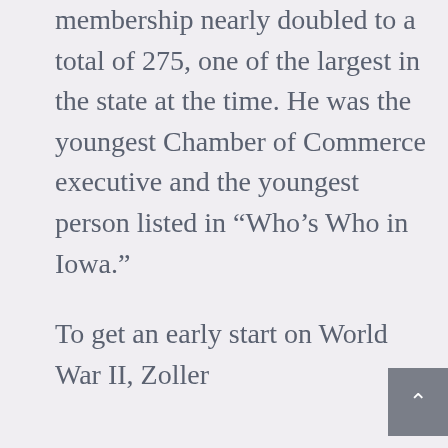membership nearly doubled to a total of 275, one of the largest in the state at the time. He was the youngest Chamber of Commerce executive and the youngest person listed in “Who’s Who in Iowa.”
To get an early start on World War II, Zoller